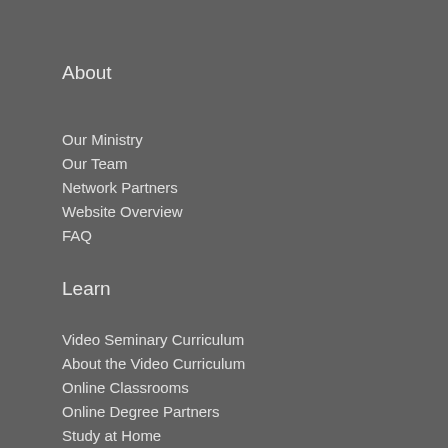About
Our Ministry
Our Team
Network Partners
Website Overview
FAQ
Learn
Video Seminary Curriculum
About the Video Curriculum
Online Classrooms
Online Degree Partners
Study at Home
Resources
Biblical Perspectives Magazine
Q&A Knowledgebase
Study Bible